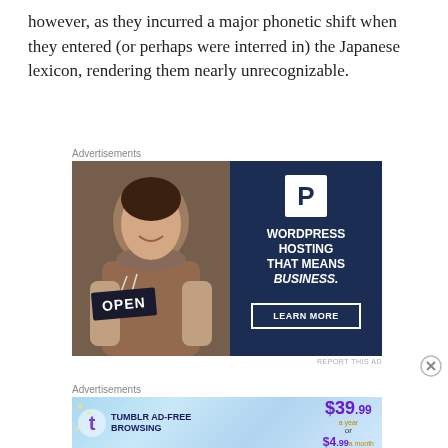however, as they incurred a major phonetic shift when they entered (or perhaps were interred in) the Japanese lexicon, rendering them nearly unrecognizable.
Advertisements
[Figure (photo): Advertisement for WordPress Hosting: left half shows a woman holding an OPEN sign (photo), right half is dark navy with a WordPress P logo and text 'WORDPRESS HOSTING THAT MEANS BUSINESS.' with a 'LEARN MORE' button.]
Advertisements
[Figure (infographic): Advertisement for Tumblr Ad-Free Browsing: $39.99 a year or $4.99 a month, with Tumblr logo and sparkle graphics on a light blue gradient background.]